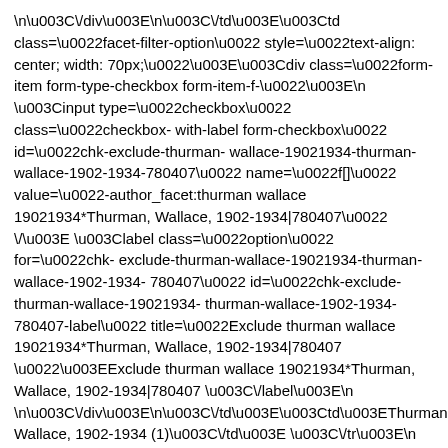\n\u003C\/div\u003E\n\u003C\/td\u003E\u003Ctd class=\u0022facet-filter-option\u0022 style=\u0022text-align: center; width: 70px;\u0022\u003E\u003Cdiv class=\u0022form-item form-type-checkbox form-item-f-\u0022\u003E\n\u003Cinput type=\u0022checkbox\u0022 class=\u0022checkbox-with-label form-checkbox\u0022 id=\u0022chk-exclude-thurman-wallace-19021934-thurman-wallace-1902-1934-780407\u0022 name=\u0022f[]\u0022 value=\u0022-author_facet:thurman wallace 19021934*Thurman, Wallace, 1902-1934|780407\u0022 \/\u003E \u003Clabel class=\u0022option\u0022 for=\u0022chk-exclude-thurman-wallace-19021934-thurman-wallace-1902-1934-780407\u0022 id=\u0022chk-exclude-thurman-wallace-19021934-thurman-wallace-1902-1934-780407-label\u0022 title=\u0022Exclude thurman wallace 19021934*Thurman, Wallace, 1902-1934|780407 \u0022\u003EExclude thurman wallace 19021934*Thurman, Wallace, 1902-1934|780407 \u003C\/label\u003E\n\n\u003C\/div\u003E\n\u003C\/td\u003E\u003Ctd\u003EThurman, Wallace, 1902-1934 (1)\u003C\/td\u003E \u003C\/tr\u003E\n\u003Ctr class=\u0022even\u0022\u003E\u003Ctd class=\u0022facet-filter-option\u0022 style=\u0022text-align: center; width: 70px;\u0022\u003E\u003Cdiv class=\u0022form-item form-type-checkbox form-item-f-1-\u0022\u003E\n\u003Cinput type=\u0022checkbox\u0022 class=\u0022checkbox-with-label form-checkbox\u0022 id=\u0022chk-include-ugba-abel-